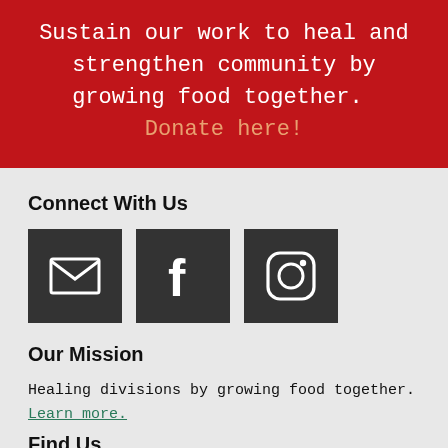Sustain our work to heal and strengthen community by growing food together. Donate here!
Connect With Us
[Figure (infographic): Three dark square icon buttons: email envelope icon, Facebook f icon, Instagram camera icon]
Our Mission
Healing divisions by growing food together. Learn more.
Find Us